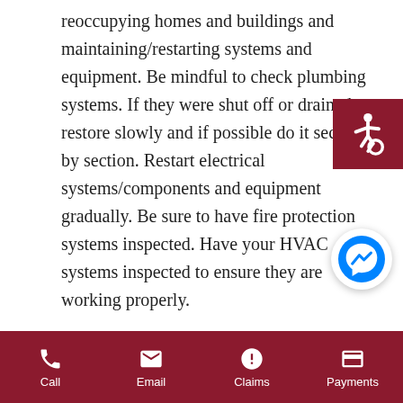reoccupying homes and buildings and maintaining/restarting systems and equipment. Be mindful to check plumbing systems. If they were shut off or drained, restore slowly and if possible do it section by section. Restart electrical systems/components and equipment gradually. Be sure to have fire protection systems inspected. Have your HVAC systems inspected to ensure they are working properly.

Insurance language and verbiage are complex. It is important to understand that carriers offer varying conditions, exclusions, coverages, limits and deductibles that apply to each definition within the policy form. Your time is consumed
[Figure (illustration): Accessibility icon (wheelchair symbol) in white on dark red square background]
[Figure (illustration): Facebook Messenger icon - blue circle with white lightning bolt chat symbol]
Call | Email | Claims | Payments